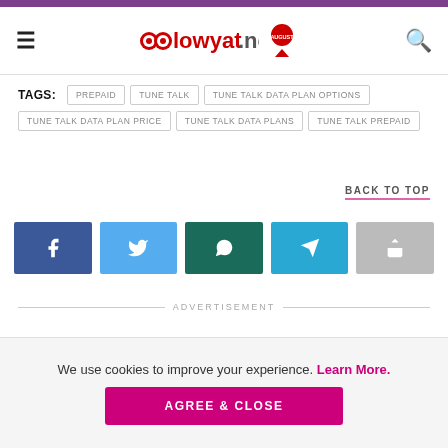lowyat.net
TAGS: PREPAID   TUNE TALK   TUNE TALK DATA PLAN OPTIONS   TUNE TALK DATA PLAN PRICE   TUNE TALK DATA PLANS   TUNE TALK PREPAID
BACK TO TOP
[Figure (other): Social share buttons: Facebook, Twitter, WhatsApp, Telegram, Share]
ADVERTISEMENT
We use cookies to improve your experience. Learn More.
AGREE & CLOSE